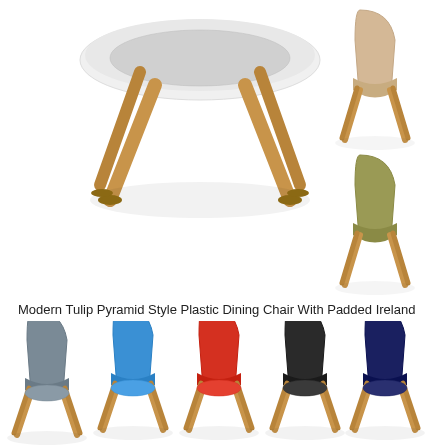[Figure (photo): Product page showing a Modern Tulip Pyramid Style Plastic Dining Chair with wooden legs. Top section shows a close-up of the white chair seat from above with wooden legs. Top-right shows two color variants: beige/natural and olive/khaki. Middle row shows five color variants in a row: grey, blue, red, black, and navy. Bottom section shows two white chair backs side by side, partially cropped.]
Modern Tulip Pyramid Style Plastic Dining Chair With Padded Ireland